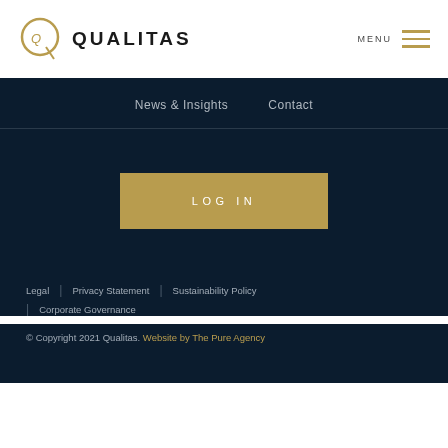[Figure (logo): Qualitas logo with circular Q icon and bold QUALITAS text]
MENU
News & Insights    Contact
LOG IN
Legal | Privacy Statement | Sustainability Policy | Corporate Governance
© Copyright 2021 Qualitas. Website by The Pure Agency